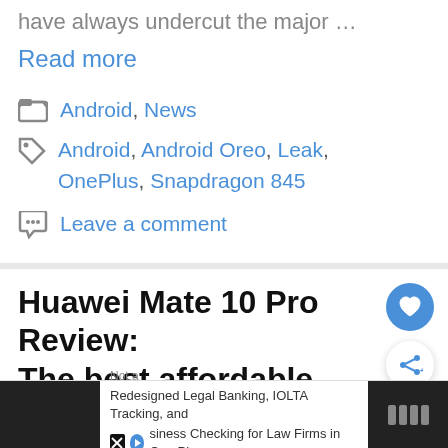have always undercut the major …
Read more
Categories: Android, News
Tags: Android, Android Oreo, Leak, OnePlus, Snapdragon 845
Leave a comment
Huawei Mate 10 Pro Review: The best affordable flagship?
19th March 2018 by James Smythe
Not a
Redesigned Legal Banking, IOLTA Tracking, and Business Checking for Law Firms in One Place